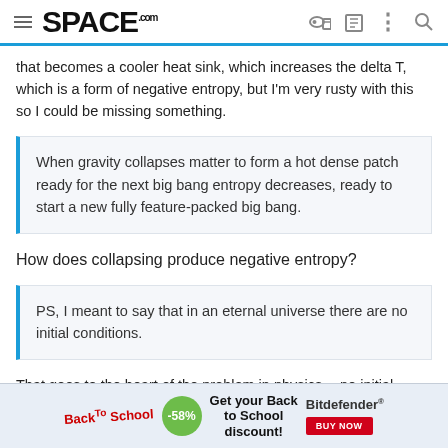SPACE.com
that becomes a cooler heat sink, which increases the delta T, which is a form of negative entropy, but I'm very rusty with this so I could be missing something.
When gravity collapses matter to form a hot dense patch ready for the next big bang entropy decreases, ready to start a new fully feature-packed big bang.
How does collapsing produce negative entropy?
PS, I meant to say that in an eternal universe there are no initial conditions.
That goes to the heart of the problem in physics -- no initial conditions, no physics. This is another reason why it helps to use
[Figure (photo): Advertisement banner: Back to School discount with Bitdefender, -58% off, Buy Now button]